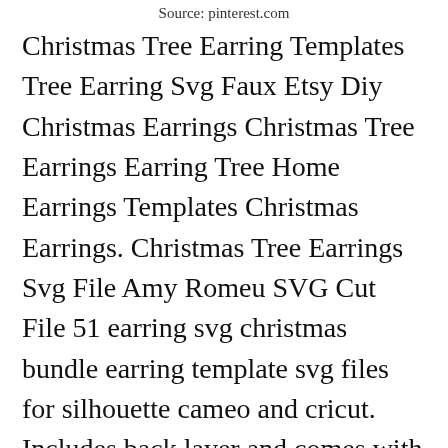Source: pinterest.com
Christmas Tree Earring Templates Tree Earring Svg Faux Etsy Diy Christmas Earrings Christmas Tree Earrings Earring Tree Home Earrings Templates Christmas Earrings. Christmas Tree Earrings Svg File Amy Romeu SVG Cut File 51 earring svg christmas bundle earring template svg files for silhouette cameo and cricut. Includes back layer and comes with or without holes This listing is for an INSTANT DOWNLOAD. 8 designs 11 cut elements are included. Easy and fun to print cut designs or make your